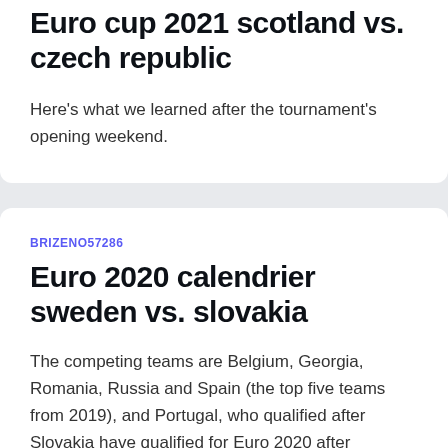Euro cup 2021 scotland vs. czech republic
Here's what we learned after the tournament's opening weekend.
BRIZENO57286
Euro 2020 calendrier sweden vs. slovakia
The competing teams are Belgium, Georgia, Romania, Russia and Spain (the top five teams from 2019), and Portugal, who qualified after Slovakia have qualified for Euro 2020 after